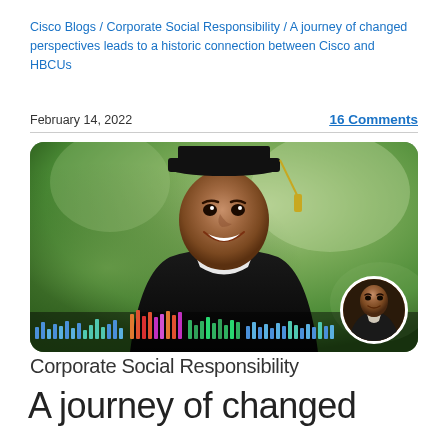Cisco Blogs / Corporate Social Responsibility / A journey of changed perspectives leads to a historic connection between Cisco and HBCUs
February 14, 2022
16 Comments
[Figure (photo): A young Black man in graduation cap and gown smiling outdoors with green blurred background, with colorful audio bar equalizer graphic at the bottom and a small circular avatar photo of a man in the lower right corner]
Corporate Social Responsibility
A journey of changed